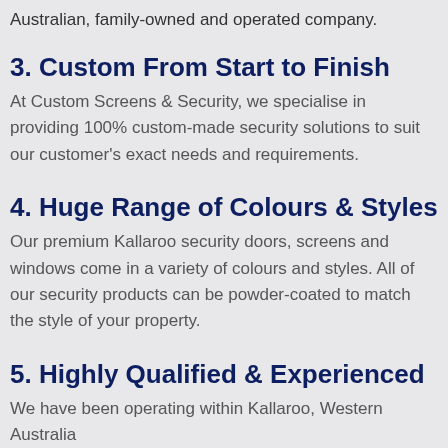Australian, family-owned and operated company.
3. Custom From Start to Finish
At Custom Screens & Security, we specialise in providing 100% custom-made security solutions to suit our customer's exact needs and requirements.
4. Huge Range of Colours & Styles
Our premium Kallaroo security doors, screens and windows come in a variety of colours and styles. All of our security products can be powder-coated to match the style of your property.
5. Highly Qualified & Experienced
We have been operating within Kallaroo, Western Australia